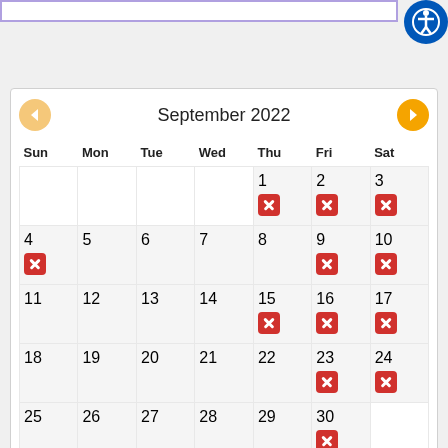[Figure (other): September 2022 calendar with red X marks on Thursdays, Fridays, and Saturdays (days 1-3, 4, 9-10, 15-17, 23-24, 30) and navigation arrows]